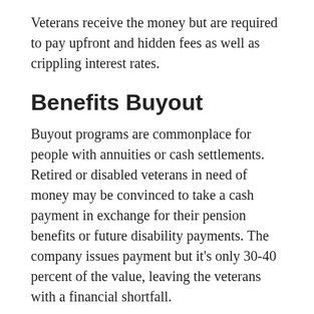Veterans receive the money but are required to pay upfront and hidden fees as well as crippling interest rates.
Benefits Buyout
Buyout programs are commonplace for people with annuities or cash settlements. Retired or disabled veterans in need of money may be convinced to take a cash payment in exchange for their pension benefits or future disability payments. The company issues payment but it’s only 30-40 percent of the value, leaving the veterans with a financial shortfall.
Life Insurance Scams
Hard sales tactics are used by agents who target veterans. They will use fake information in order to sign